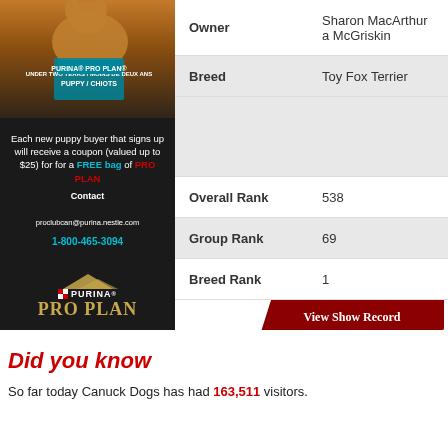[Figure (illustration): Purina Pro Plan advertisement with puppy food bag, dog image, promotional text offering free bag coupon for new puppy buyers, contact info proclubcan@purina.nestle.com, 1-800-465-3094, and Purina Pro Plan logo at bottom.]
| Field | Value |
| --- | --- |
| Owner | Sharon MacArthur a McGriskin |
| Breed | Toy Fox Terrier |
|  |  |
| Overall Rank | 538 |
| Group Rank | 69 |
| Breed Rank | 1 |
Did you know
So far today Canuck Dogs has had 163,511 visitors.